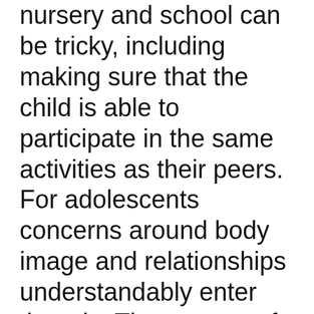nursery and school can be tricky, including making sure that the child is able to participate in the same activities as their peers. For adolescents concerns around body image and relationships understandably enter the mix. The parents of children with stomas need lots of support too.
Although the service offered by Leicester's paediatric stoma care team is comprehensive, the ladies quickly identified that peer-to-peer support (both child to child and  parent to parent) was the biggest challenge. For all...